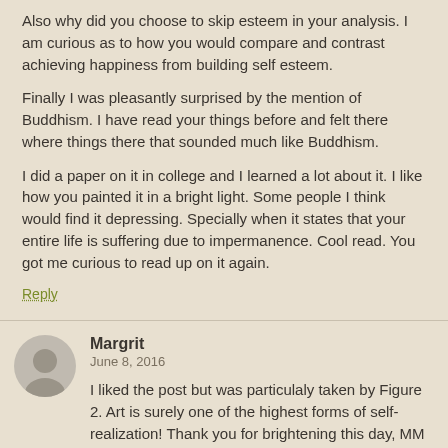Also why did you choose to skip esteem in your analysis. I am curious as to how you would compare and contrast achieving happiness from building self esteem.
Finally I was pleasantly surprised by the mention of Buddhism. I have read your things before and felt there where things there that sounded much like Buddhism.
I did a paper on it in college and I learned a lot about it. I like how you painted it in a bright light. Some people I think would find it depressing. Specially when it states that your entire life is suffering due to impermanence. Cool read. You got me curious to read up on it again.
Reply
Margrit
June 8, 2016
I liked the post but was particulaly taken by Figure 2. Art is surely one of the highest forms of self-realization! Thank you for brightening this day, MM
Reply